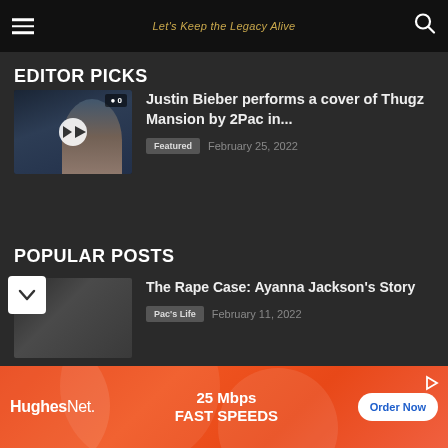Let's Keep the Legacy Alive
EDITOR PICKS
Justin Bieber performs a cover of Thugz Mansion by 2Pac in...
Featured  February 25, 2022
POPULAR POSTS
The Rape Case: Ayanna Jackson's Story
Pac's Life  February 11, 2022
[Figure (screenshot): HughesNet advertisement banner: 25 Mbps FAST SPEEDS, Order Now button]
HughesNet. 25 Mbps FAST SPEEDS Order Now